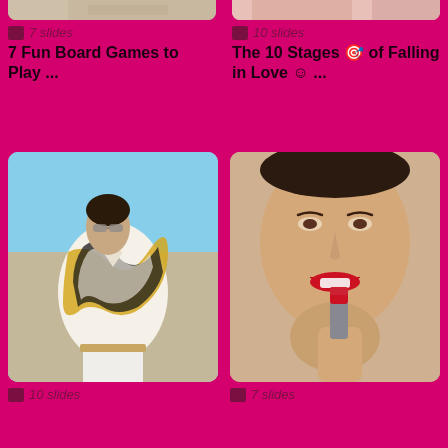[Figure (screenshot): Top partial card left: wood texture image cropped at top, with 7 slides label and title '7 Fun Board Games to Play ...']
[Figure (screenshot): Top partial card right: close-up of lips/makeup image cropped at top, with 10 slides label and title 'The 10 Stages 🎯 of Falling in Love ☺ ...']
[Figure (photo): Bottom left card: young man wearing patterned black gold white short sleeve shirt against blue sky background]
10 slides
[Figure (photo): Bottom right card: woman with red lipstick smiling and holding red lipstick product against beige background]
7 slides